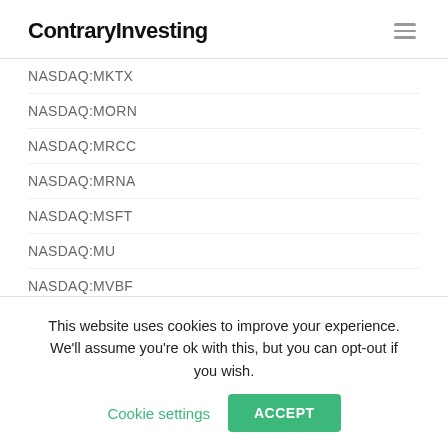ContraryInvesting
NASDAQ:MKTX
NASDAQ:MORN
NASDAQ:MRCC
NASDAQ:MRNA
NASDAQ:MSFT
NASDAQ:MU
NASDAQ:MVBF
NASDAQ:NAVI
This website uses cookies to improve your experience. We'll assume you're ok with this, but you can opt-out if you wish. Cookie settings ACCEPT